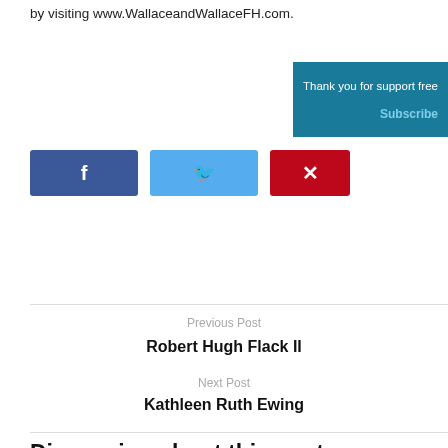by visiting www.WallaceandWallaceFH.com.
[Figure (other): Social share buttons: Facebook (dark blue), Twitter (light blue), Pinterest (red), and a teal overlay box with text 'Thank you for support free' and 'Subscribe']
Previous Post
Robert Hugh Flack II
Next Post
Kathleen Ruth Ewing
Discussion about this post